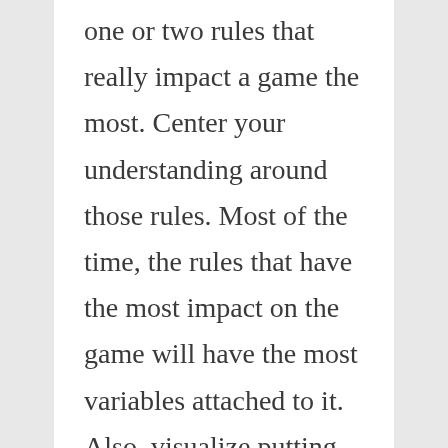one or two rules that really impact a game the most. Center your understanding around those rules. Most of the time, the rules that have the most impact on the game will have the most variables attached to it. Also, visualize putting the game pieces on the board if you can. Focus on those rules you think are most important to the game and just try to think about applying the rules, and how